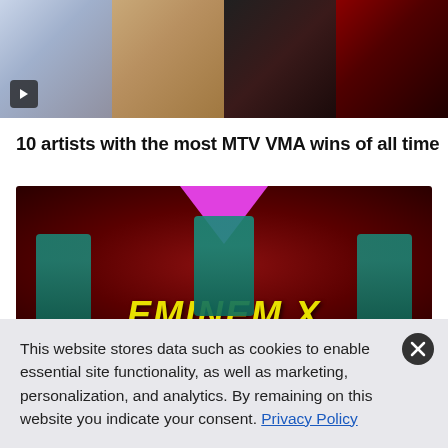[Figure (photo): A horizontal strip of four celebrity photos showing partial bodies/outfits, with a video play button overlay in the bottom-left corner.]
10 artists with the most MTV VMA wins of all time
[Figure (photo): An Eminem promotional image with dark red background, a pink inverted triangle at top center, stylized figures, and the text 'EMINEM X' in large yellow italic letters at the bottom.]
This website stores data such as cookies to enable essential site functionality, as well as marketing, personalization, and analytics. By remaining on this website you indicate your consent. Privacy Policy